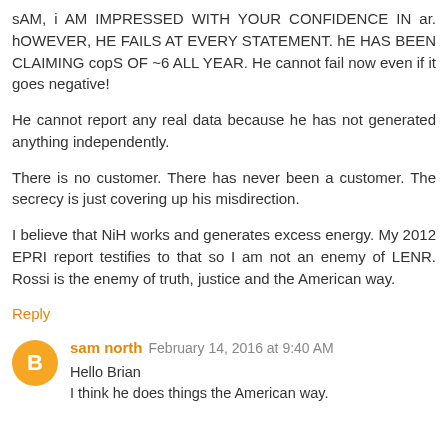sAM, i AM IMPRESSED WITH YOUR CONFIDENCE IN ar. hOWEVER, HE FAILS AT EVERY STATEMENT. hE HAS BEEN CLAIMING copS OF ~6 ALL YEAR. He cannot fail now even if it goes negative!
He cannot report any real data because he has not generated anything independently.
There is no customer. There has never been a customer. The secrecy is just covering up his misdirection.
I believe that NiH works and generates excess energy. My 2012 EPRI report testifies to that so I am not an enemy of LENR. Rossi is the enemy of truth, justice and the American way.
Reply
sam north  February 14, 2016 at 9:40 AM
Hello Brian
I think he does things the American way.